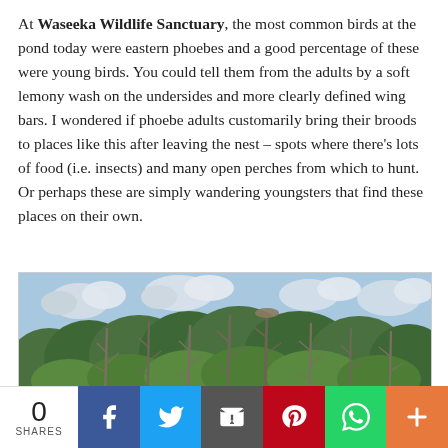At Waseeka Wildlife Sanctuary, the most common birds at the pond today were eastern phoebes and a good percentage of these were young birds. You could tell them from the adults by a soft lemony wash on the undersides and more clearly defined wing bars. I wondered if phoebe adults customarily bring their broods to places like this after leaving the nest – spots where there's lots of food (i.e. insects) and many open perches from which to hunt. Or perhaps these are simply wandering youngsters that find these places on their own.
[Figure (illustration): Watercolor illustration of a wetland or pond scene with tall bare dead trees (snags) in the foreground, dense green forest in the background, and a blue sky with white puffy clouds.]
0 SHARES | Share buttons: Facebook, Twitter, Email, Pinterest, WhatsApp, More